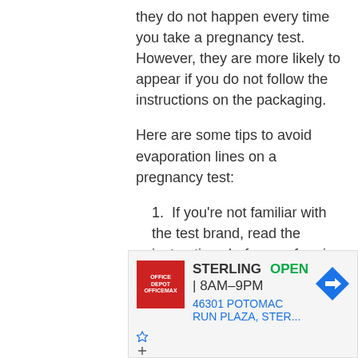they do not happen every time you take a pregnancy test. However, they are more likely to appear if you do not follow the instructions on the packaging.
Here are some tips to avoid evaporation lines on a pregnancy test:
If you're not familiar with the test brand, read the instructions before performing the test.
Use a cup or container to collect your urine before dipping
[Figure (other): Advertisement for Office Depot in Sterling, showing store logo, OPEN status, hours 8AM-9PM, address 46301 Potomac Run Plaza, STER..., navigation arrow icon, and ad controls]